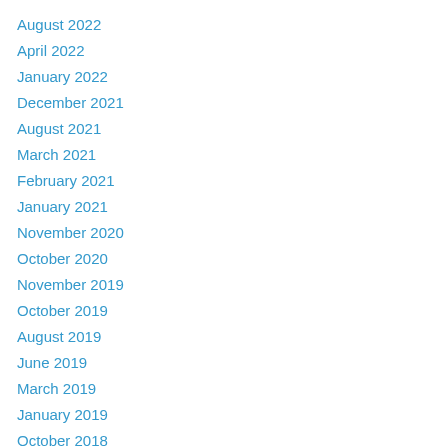August 2022
April 2022
January 2022
December 2021
August 2021
March 2021
February 2021
January 2021
November 2020
October 2020
November 2019
October 2019
August 2019
June 2019
March 2019
January 2019
October 2018
June 2018
March 2018